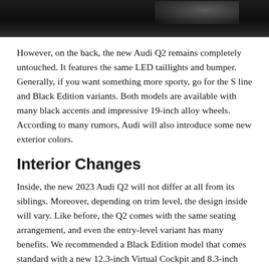[Figure (photo): Partial view of a dark-colored car, likely the Audi Q2, photographed from above/rear angle on a road surface. Only the top portion of the vehicle is visible as a cropped strip.]
However, on the back, the new Audi Q2 remains completely untouched. It features the same LED taillights and bumper. Generally, if you want something more sporty, go for the S line and Black Edition variants. Both models are available with many black accents and impressive 19-inch alloy wheels. According to many rumors, Audi will also introduce some new exterior colors.
Interior Changes
Inside, the new 2023 Audi Q2 will not differ at all from its siblings. Moreover, depending on trim level, the design inside will vary. Like before, the Q2 comes with the same seating arrangement, and even the entry-level variant has many benefits. We recommended a Black Edition model that comes standard with a new 12.3-inch Virtual Cockpit and 8.3-inch infotainment touchscreen. This version also offers a very supportive voice control system and rear parking sensors